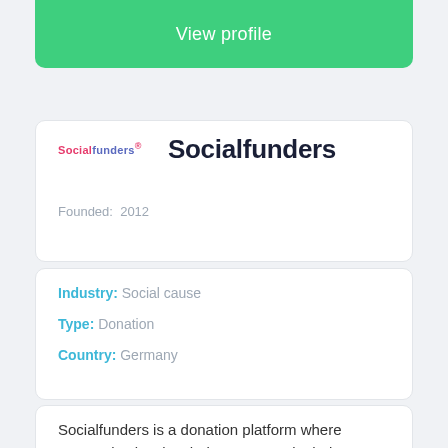View profile
Socialfunders
Founded: 2012
Industry: Social cause
Type: Donation
Country: Germany
Socialfunders is a donation platform where companies involve their customers in their engagement. Donations are made via 'social coins' that companies can give away